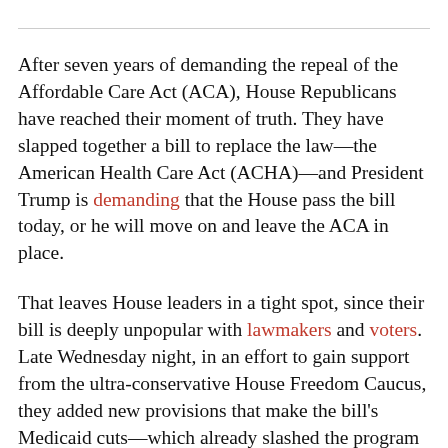After seven years of demanding the repeal of the Affordable Care Act (ACA), House Republicans have reached their moment of truth. They have slapped together a bill to replace the law—the American Health Care Act (ACHA)—and President Trump is demanding that the House pass the bill today, or he will move on and leave the ACA in place.
That leaves House leaders in a tight spot, since their bill is deeply unpopular with lawmakers and voters. Late Wednesday night, in an effort to gain support from the ultra-conservative House Freedom Caucus, they added new provisions that make the bill's Medicaid cuts—which already slashed the program by $880 billion—even